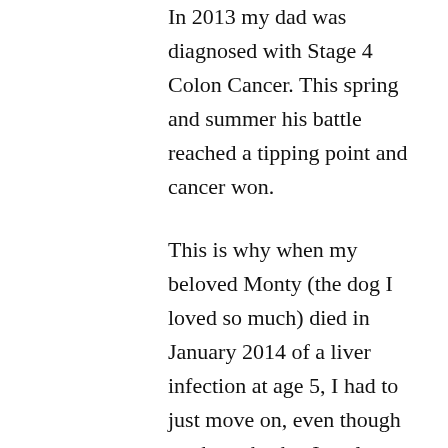In 2013 my dad was diagnosed with Stage 4 Colon Cancer. This spring and summer his battle reached a tipping point and cancer won.
This is why when my beloved Monty (the dog I loved so much) died in January 2014 of a liver infection at age 5, I had to just move on, even though my heart broke. It truly wasn't something I expected to happen to my young pup, my best friend, the person (I know he wasn't a person) I leaned on the most in life, not like that. But when your father is fighting for his life you have to just be strong for everyone else and not focus on that, you have to focus on who is still with you and how you can help them.